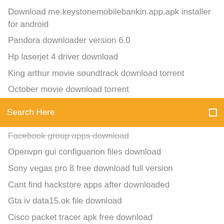Download me.keystonemobilebankin.app.apk installer for android
Pandora downloader version 6.0
Hp laserjet 4 driver download
King arthur movie soundtrack download torrent
October movie download torrent
[Figure (screenshot): Orange search bar with text 'Search Here' and a search icon on the right]
Facebook group apps download
Openvpn gui configuarion files download
Sony vegas pro 8 free download full version
Cant find hackstore apps after downloaded
Gta iv data15.ok file download
Cisco packet tracer apk free download
Behen hogi teri move download torrent
Free google play download oicture apps
Dealing with depression free pdf download
How to download an htm file
Ps4 injustice 2 digital download